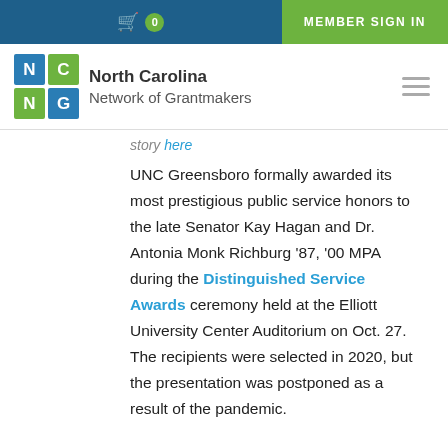0  MEMBER SIGN IN
[Figure (logo): North Carolina Network of Grantmakers logo with NC NG grid and organization name]
story here
UNC Greensboro formally awarded its most prestigious public service honors to the late Senator Kay Hagan and Dr. Antonia Monk Richburg '87, '00 MPA during the Distinguished Service Awards ceremony held at the Elliott University Center Auditorium on Oct. 27. The recipients were selected in 2020, but the presentation was postponed as a result of the pandemic.